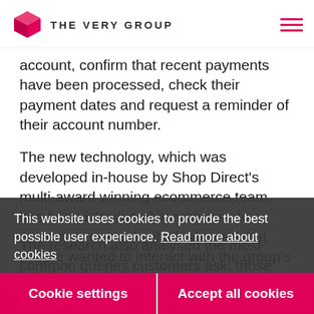THE VERY GROUP
account, confirm that recent payments have been processed, check their payment dates and request a reminder of their account number.
The new technology, which was developed in-house by Shop Direct's multi-award winning ecommerce team, has been introduced in response to customer research which showed that people wanted to interact with the group's brands in a chat
This website uses cookies to provide the best possible user experience. Read more about cookies
Cookie settings
Accept all cookies
The research also analysed the most common queries customers ask, those